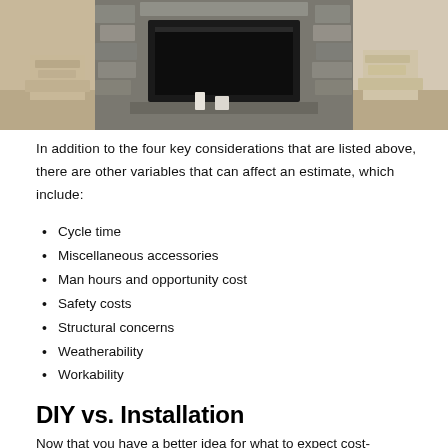[Figure (photo): Interior room photo showing a stone fireplace with a black insert, flanked by two ornate column capital decorative pieces on a wooden surface, with white walls in background]
In addition to the four key considerations that are listed above, there are other variables that can affect an estimate, which include:
Cycle time
Miscellaneous accessories
Man hours and opportunity cost
Safety costs
Structural concerns
Weatherability
Workability
DIY vs. Installation
Now that you have a better idea for what to expect cost-